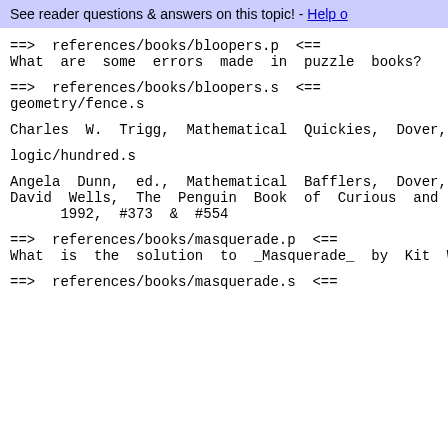See reader questions & answers on this topic! - Help o
==> references/books/bloopers.p <==
What are some errors made in puzzle books?
==> references/books/bloopers.s <==
geometry/fence.s
Charles W. Trigg, Mathematical Quickies, Dover,
logic/hundred.s
Angela Dunn, ed., Mathematical Bafflers, Dover,
David Wells, The Penguin Book of Curious and In
    1992, #373 & #554
==> references/books/masquerade.p <==
What is the solution to _Masquerade_ by Kit Wil
==> references/books/masquerade.s <==